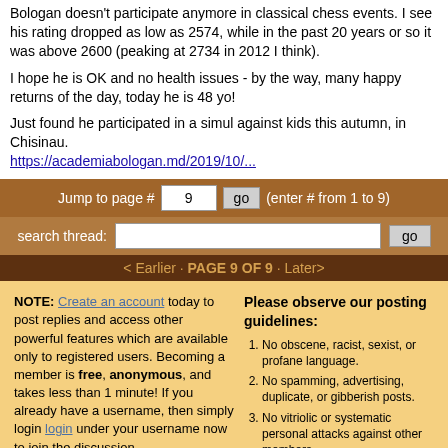Bologan doesn't participate anymore in classical chess events. I see his rating dropped as low as 2574, while in the past 20 years or so it was above 2600 (peaking at 2734 in 2012 I think).
I hope he is OK and no health issues - by the way, many happy returns of the day, today he is 48 yo!
Just found he participated in a simul against kids this autumn, in Chisinau. https://academiabologan.md/2019/10/...
Jump to page # 9 go (enter # from 1 to 9)
search thread: go
< Earlier · PAGE 9 OF 9 · Later>
NOTE: Create an account today to post replies and access other powerful features which are available only to registered users. Becoming a member is free, anonymous, and takes less than 1 minute! If you already have a username, then simply login login under your username now to join the discussion.
Please observe our posting guidelines:
1. No obscene, racist, sexist, or profane language.
2. No spamming, advertising, duplicate, or gibberish posts.
3. No vitriolic or systematic personal attacks against other members.
4. Nothing in violation of United States law.
5. No cyberstalking or malicious posting of negative or private information (doxing/doxxing) of members.
6. No trolling.
7. The use of "sock puppet" accounts to circumvent disciplinary action taken by moderators, create a false